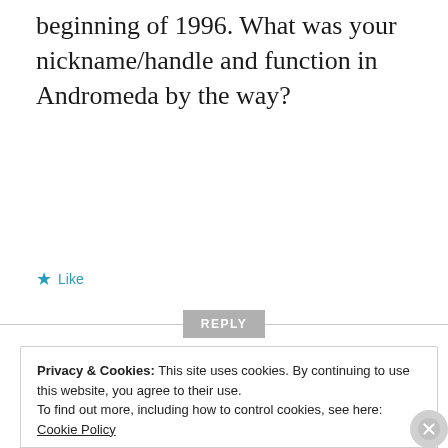beginning of 1996. What was your nickname/handle and function in Andromeda by the way?
★ Like
REPLY
«Copyparty» i Drammen, 1990 –
Privacy & Cookies: This site uses cookies. By continuing to use this website, you agree to their use.
To find out more, including how to control cookies, see here: Cookie Policy
Close and accept